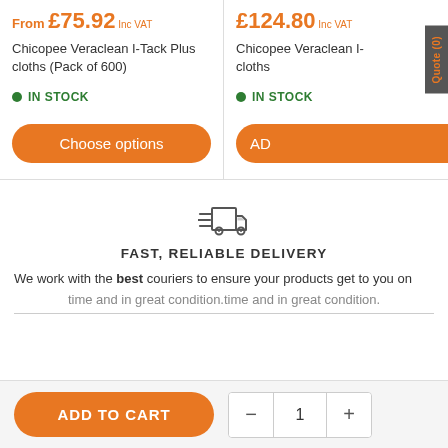From £75.92 Inc VAT
Chicopee Veraclean I-Tack Plus cloths (Pack of 600)
IN STOCK
Choose options
£124.80 Inc VAT
Chicopee Veraclean cloths
IN STOCK
AD
Quote (0)
[Figure (illustration): Fast delivery truck icon with speed lines]
FAST, RELIABLE DELIVERY
We work with the best couriers to ensure your products get to you on time and in great condition.
ADD TO CART
1